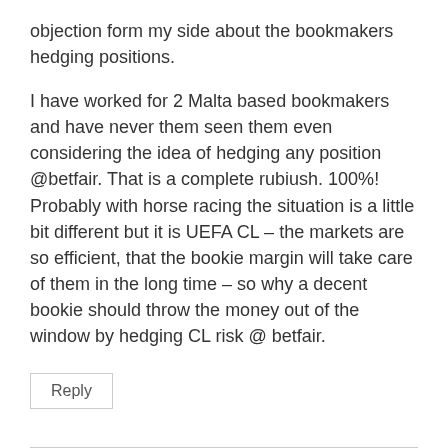objection form my side about the bookmakers hedging positions.
I have worked for 2 Malta based bookmakers and have never them seen them even considering the idea of hedging any position @betfair. That is a complete rubiush. 100%!
Probably with horse racing the situation is a little bit different but it is UEFA CL – the markets are so efficient, that the bookie margin will take care of them in the long time – so why a decent bookie should throw the money out of the window by hedging CL risk @ betfair.
Reply